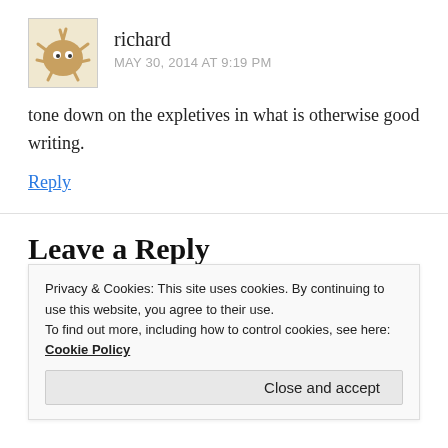[Figure (illustration): Avatar image of a cartoon creature (brown spiked blob with eyes), inside a bordered square box]
richard
MAY 30, 2014 AT 9:19 PM
tone down on the expletives in what is otherwise good writing.
Reply
Leave a Reply
Your email address will not be published. Required fields are marked *
Privacy & Cookies: This site uses cookies. By continuing to use this website, you agree to their use.
To find out more, including how to control cookies, see here: Cookie Policy
Close and accept